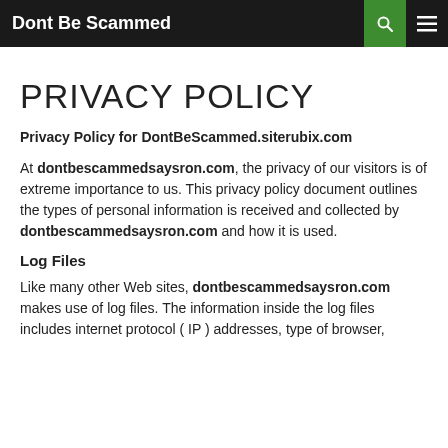Dont Be Scammed
PRIVACY POLICY
Privacy Policy for DontBeScammed.siterubix.com
At dontbescammedsaysron.com, the privacy of our visitors is of extreme importance to us. This privacy policy document outlines the types of personal information is received and collected by dontbescammedsaysron.com and how it is used.
Log Files
Like many other Web sites, dontbescammedsaysron.com makes use of log files. The information inside the log files includes internet protocol ( IP ) addresses, type of browser,